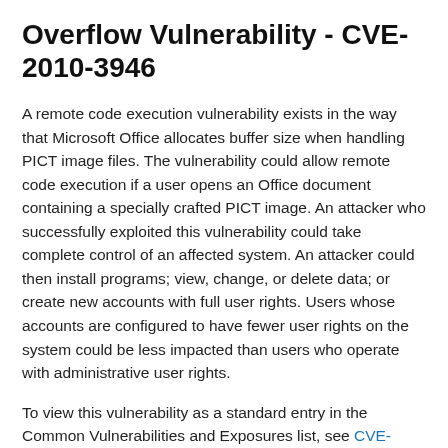Overflow Vulnerability - CVE-2010-3946
A remote code execution vulnerability exists in the way that Microsoft Office allocates buffer size when handling PICT image files. The vulnerability could allow remote code execution if a user opens an Office document containing a specially crafted PICT image. An attacker who successfully exploited this vulnerability could take complete control of an affected system. An attacker could then install programs; view, change, or delete data; or create new accounts with full user rights. Users whose accounts are configured to have fewer user rights on the system could be less impacted than users who operate with administrative user rights.
To view this vulnerability as a standard entry in the Common Vulnerabilities and Exposures list, see CVE-2010-3946.